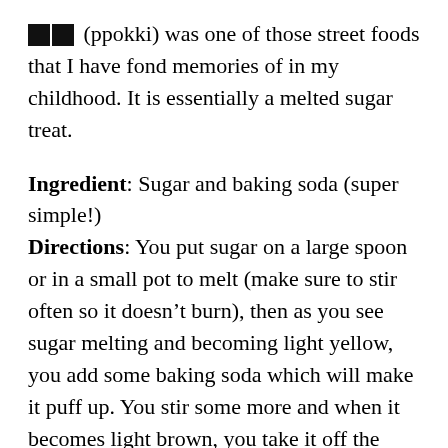▪▪ (ppokki) was one of those street foods that I have fond memories of in my childhood. It is essentially a melted sugar treat.
Ingredient: Sugar and baking soda (super simple!)
Directions: You put sugar on a large spoon or in a small pot to melt (make sure to stir often so it doesn't burn), then as you see sugar melting and becoming light yellow, you add some baking soda which will make it puff up. You stir some more and when it becomes light brown, you take it off the heat, put on a flat surface and flatten it with something. It cools down quickly into a flat sugar candy. There's nothing more to it.